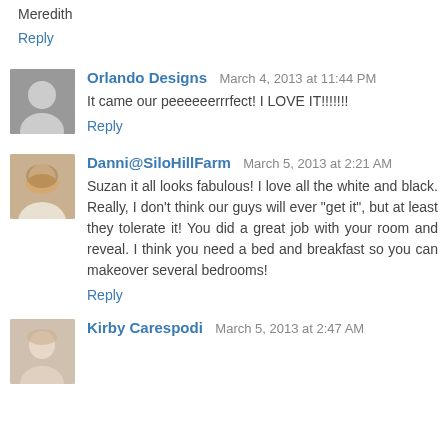Meredith
Reply
Orlando Designs  March 4, 2013 at 11:44 PM
It came our peeeeeerrrfect! I LOVE IT!!!!!!!
Reply
Danni@SiloHillFarm  March 5, 2013 at 2:21 AM
Suzan it all looks fabulous! I love all the white and black. Really, I don't think our guys will ever "get it", but at least they tolerate it! You did a great job with your room and reveal. I think you need a bed and breakfast so you can makeover several bedrooms!
Reply
Kirby Carespodi  March 5, 2013 at 2:47 AM